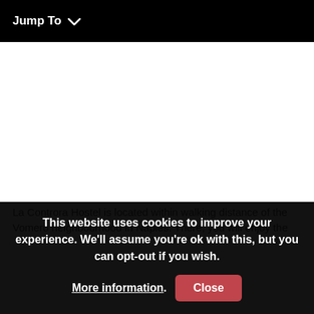Jump To ∨
La Controra Hostel is located within walking distance of the Vomero neighbourhood in Naples. There, you will enjoy the
This website uses cookies to improve your experience. We'll assume you're ok with this, but you can opt-out if you wish. More information. Close